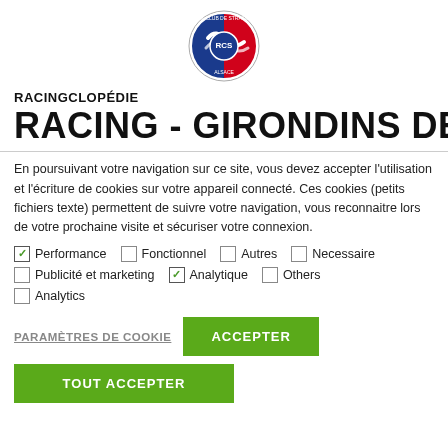[Figure (logo): Racing Club de Strasbourg Alsace circular logo with blue and red colors and 'RCS' letters]
RACINGCLOPÉDIE
RACING - GIRONDINS DE
En poursuivant votre navigation sur ce site, vous devez accepter l'utilisation et l'écriture de cookies sur votre appareil connecté. Ces cookies (petits fichiers texte) permettent de suivre votre navigation, vous reconnaitre lors de votre prochaine visite et sécuriser votre connexion.
✓ Performance  □ Fonctionnel  □ Autres  □ Necessaire
□ Publicité et marketing  ✓ Analytique  □ Others
□ Analytics
PARAMÈTRES DE COOKIE
ACCEPTER
TOUT ACCEPTER